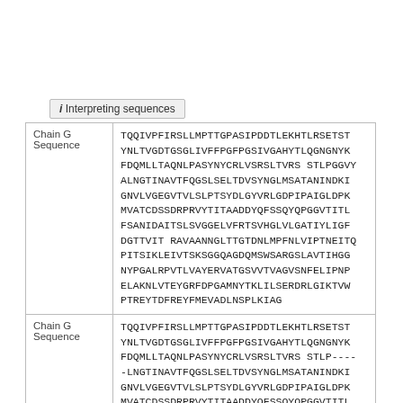i Interpreting sequences
| Label | Sequence |
| --- | --- |
| Chain G Sequence | TQQIVPFIRSLLMPTTGPASIPDDTLEKHTLRSETST YNLTVGDTGSGLIVFFPGFPGSIVGAHYTLQGNGNYK FDQMLLTAQNLPASYNYCRLVSRSLTVRS STLPGGVY ALNGTINAVTFQGSLSELTDVSYNGLMSATANINDKI GNVLVGEGVTVLSLPTSYDLGYVRLGDPIPAIGLDPK MVATCDSSDRPRVYTITAADDYQFSSQYQPGGVTITL FSANIDAITSLSVGGELVFRTSVHGLVLGATIYLIGF DGTTVIT RAVAANNGLTTGTDNLMPFNLVIPTNEITQ PITSIKLEIVTSKSGGQAGDQMSWSARGSLAVTIHGG NYPGALRPVTLVAYERVATGSVVTVAGVSNFELIPNP ELAKNLVTEYGRFDPGAMNYTKLILSERDRLGIKTVW PTREYTDFREYFMEVADLNSPLKIAG |
| Chain G Sequence | TQQIVPFIRSLLMPTTGPASIPDDTLEKHTLRSETST YNLTVGDTGSGLIVFFPGFPGSIVGAHYTLQGNGNYK FDQMLLTAQNLPASYNYCRLVSRSLTVRS STLP---- -LNGTINAVTFQGSLSELTDVSYNGLMSATANINDKI GNVLVGEGVTVLSLPTSYDLGYVRLGDPIPAIGLDPK MVATCDSSDRPRVYTITAADDYQFSSQYQPGGVTITL |